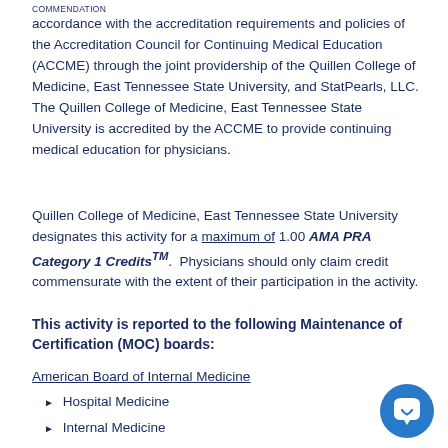COMMENDATION
accordance with the accreditation requirements and policies of the Accreditation Council for Continuing Medical Education (ACCME) through the joint providership of the Quillen College of Medicine, East Tennessee State University, and StatPearls, LLC. The Quillen College of Medicine, East Tennessee State University is accredited by the ACCME to provide continuing medical education for physicians.
Quillen College of Medicine, East Tennessee State University designates this activity for a maximum of 1.00 AMA PRA Category 1 Credits™. Physicians should only claim credit commensurate with the extent of their participation in the activity.
This activity is reported to the following Maintenance of Certification (MOC) boards:
American Board of Internal Medicine
Hospital Medicine
Internal Medicine